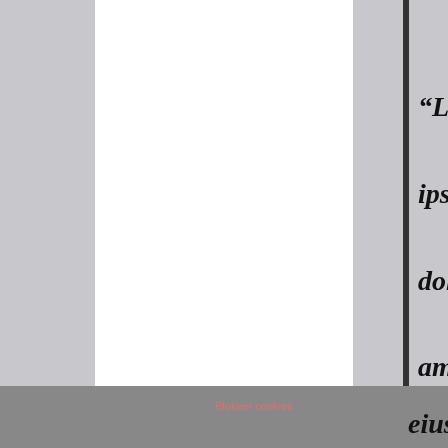“Lorem ipsum dolor sit amet, consectetur adipiscing elit, sed do eiusmod